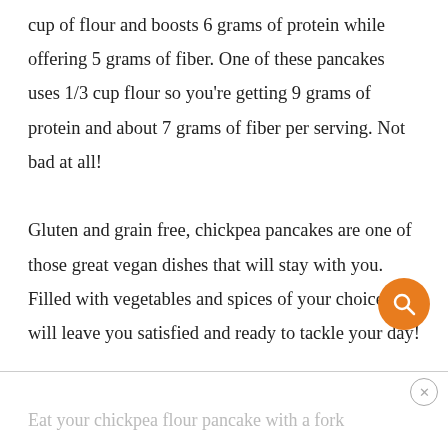cup of flour and boosts 6 grams of protein while offering 5 grams of fiber. One of these pancakes uses 1/3 cup flour so you're getting 9 grams of protein and about 7 grams of fiber per serving. Not bad at all!

Gluten and grain free, chickpea pancakes are one of those great vegan dishes that will stay with you. Filled with vegetables and spices of your choice, it will leave you satisfied and ready to tackle your day!
Eat your chickpea flour pancake with a fork